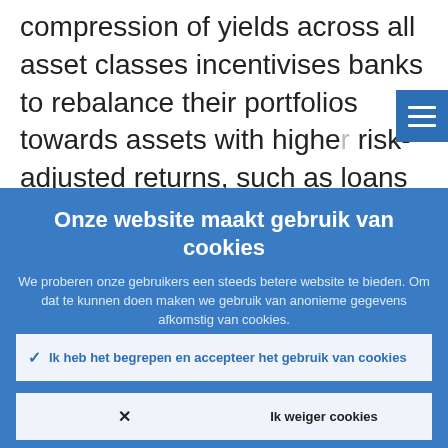compression of yields across all asset classes incentivises banks to rebalance their portfolios towards assets with higher risk-adjusted returns, such as loans to firms.
Onze website maakt gebruik van cookies
We proberen onze gebruikers een steeds betere website te bieden. Om dat te kunnen doen maken we gebruik van anonieme gegevens afkomstig van cookies.
Nadere informatie over ons gebruik van cookies
Ik heb het begrepen en accepteer het gebruik van cookies
Ik weiger cookies